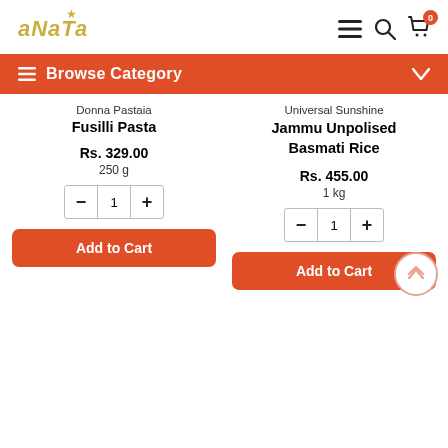[Figure (logo): anata logo in italic gold/yellow with star above]
[Figure (infographic): Header navigation icons: hamburger menu, search, shopping bag with 0 badge]
Browse Category
Donna Pastaia
Fusilli Pasta
Rs. 329.00
250 g
Add to Cart
Universal Sunshine
Jammu Unpolised Basmati Rice
Rs. 455.00
1 kg
Add to Cart